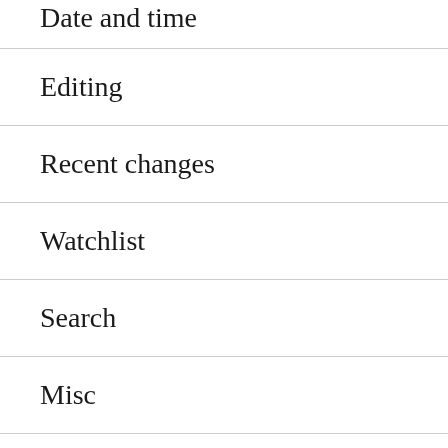Date and time
Editing
Recent changes
Watchlist
Search
Misc
See also